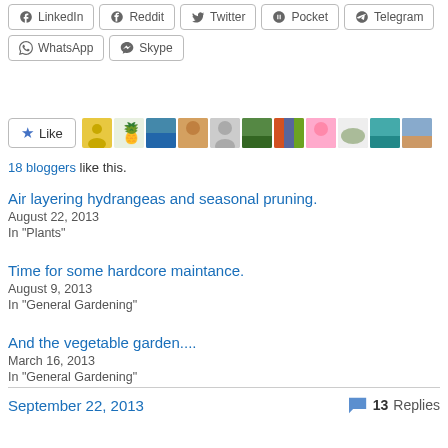LinkedIn, Reddit, Twitter, Pocket, Telegram, WhatsApp, Skype share buttons
[Figure (other): Like button and row of blogger avatar thumbnails (18 bloggers like this)]
18 bloggers like this.
Air layering hydrangeas and seasonal pruning.
August 22, 2013
In "Plants"
Time for some hardcore maintance.
August 9, 2013
In "General Gardening"
And the vegetable garden....
March 16, 2013
In "General Gardening"
September 22, 2013
13 Replies